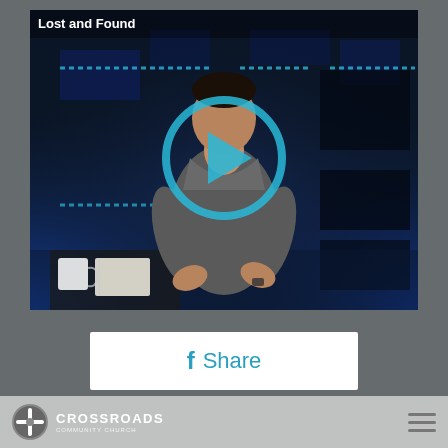[Figure (screenshot): Video thumbnail showing a man speaking on a church stage with blue lighting, overlaid with a circular play button. Title 'Lost and Found' in top left corner.]
f Share
SUBSCRIBE TO PODCAST
[Figure (logo): Crossroads Community Church logo: white circle with cross/road symbol, text CROSSROADS in bold white, subtitle text below, on light grey footer bar with hamburger menu icon on right.]